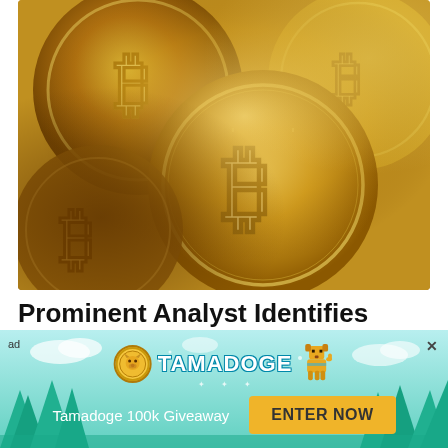[Figure (photo): Close-up photograph of multiple golden Bitcoin coins showing the Bitcoin 'B' symbol embossed on their faces]
Prominent Analyst Identifies Bitcoin Buy and Accumulate Zones
by Martin Young · August 2022
[Figure (infographic): Tamadoge advertisement banner with teal sky and tree background. Shows Tamadoge logo (coin + text + dog mascot), 'Tamadoge 100k Giveaway' text, and 'ENTER NOW' yellow button. Labeled 'ad' with X close button.]